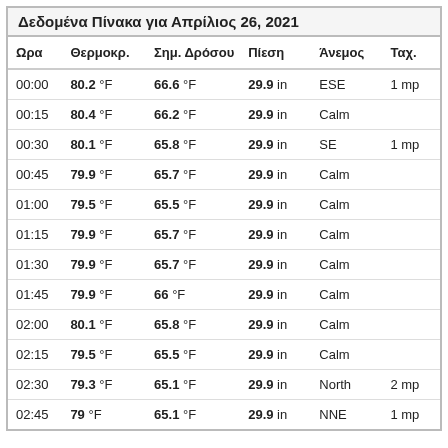Δεδομένα Πίνακα για Απρίλιος 26, 2021
| Ωρα | Θερμοκρ. | Σημ. Δρόσου | Πίεση | Άνεμος | Ταχ. |
| --- | --- | --- | --- | --- | --- |
| 00:00 | 80.2 °F | 66.6 °F | 29.9 in | ESE | 1 mp |
| 00:15 | 80.4 °F | 66.2 °F | 29.9 in | Calm |  |
| 00:30 | 80.1 °F | 65.8 °F | 29.9 in | SE | 1 mp |
| 00:45 | 79.9 °F | 65.7 °F | 29.9 in | Calm |  |
| 01:00 | 79.5 °F | 65.5 °F | 29.9 in | Calm |  |
| 01:15 | 79.9 °F | 65.7 °F | 29.9 in | Calm |  |
| 01:30 | 79.9 °F | 65.7 °F | 29.9 in | Calm |  |
| 01:45 | 79.9 °F | 66 °F | 29.9 in | Calm |  |
| 02:00 | 80.1 °F | 65.8 °F | 29.9 in | Calm |  |
| 02:15 | 79.5 °F | 65.5 °F | 29.9 in | Calm |  |
| 02:30 | 79.3 °F | 65.1 °F | 29.9 in | North | 2 mp |
| 02:45 | 79 °F | 65.1 °F | 29.9 in | NNE | 1 mp |